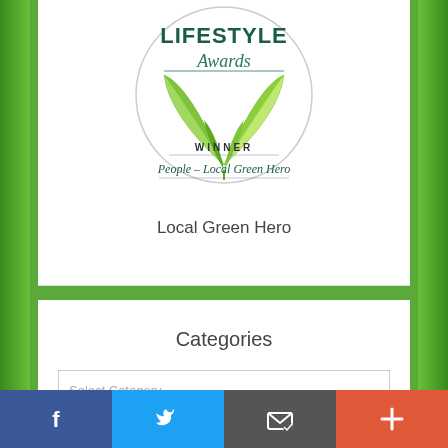[Figure (logo): Lifestyle Awards circular logo with green leaf sprout illustration, text 'LIFESTYLE Awards' at top, 'WINNER' below, and cursive text 'People – Local Green Hero' beneath]
Local Green Hero
Categories
Select Category
[Figure (infographic): Social sharing bar with four buttons: Facebook (blue), Twitter (light blue), Email/share (dark grey), and plus/more (orange-red)]